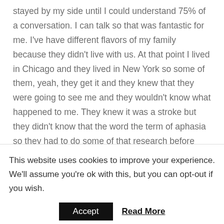stayed by my side until I could understand 75% of a conversation. I can talk so that was fantastic for me. I've have different flavors of my family because they didn't live with us. At that point I lived in Chicago and they lived in New York so some of them, yeah, they get it and they knew that they were going to see me and they wouldn't know what happened to me. They knew it was a stroke but they didn't know that the word the term of aphasia so they had to do some of that research before they approached me so that was
This website uses cookies to improve your experience. We'll assume you're ok with this, but you can opt-out if you wish.
Accept  Read More